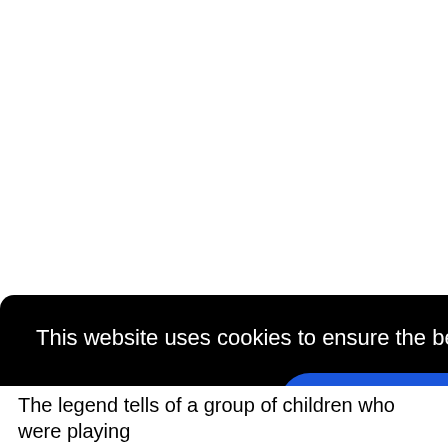[Figure (screenshot): Cookie consent banner overlay on a webpage. Black rounded rectangle background with white text reading 'This website uses cookies to ensure the best browsing experience. Learn More' and a blue rounded button labeled 'Got it!'. A dark gray bar is partially visible at the right edge.]
The legend tells of a group of children who were playing